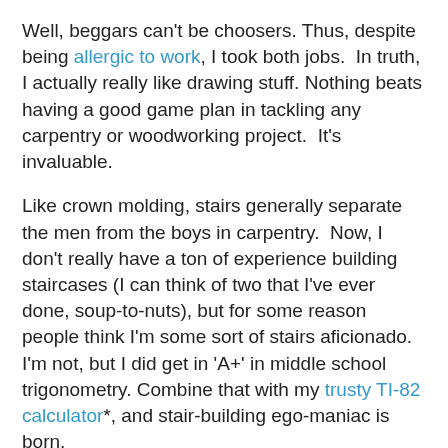Well, beggars can't be choosers. Thus, despite being allergic to work, I took both jobs.  In truth, I actually really like drawing stuff. Nothing beats having a good game plan in tackling any carpentry or woodworking project.  It's invaluable.
Like crown molding, stairs generally separate the men from the boys in carpentry.  Now, I don't really have a ton of experience building staircases (I can think of two that I've ever done, soup-to-nuts), but for some reason people think I'm some sort of stairs aficionado.  I'm not, but I did get in 'A+' in middle school trigonometry. Combine that with my trusty TI-82 calculator*, and stair-building ego-maniac is born.
But seriously, stairs are pretty fun.  If I could build stairs all day as a carpenter, I think I'd actually really enjoy the job. Its challenging and rewarding.  I love anything where you have to make a million cuts on one piece of wood, and have a "moment of truth" where you get to see if it actually works.  Since I don't have a TV, this is about as close to a suspense thriller as I get.